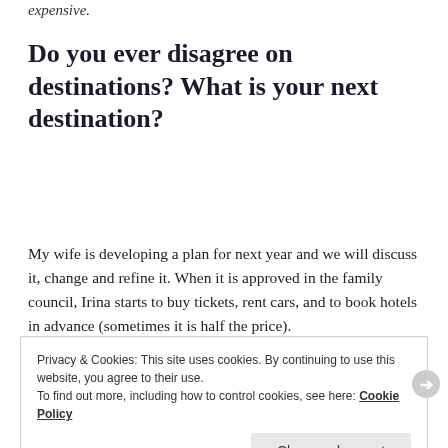expensive.
Do you ever disagree on destinations? What is your next destination?
My wife is developing a plan for next year and we will discuss it, change and refine it. When it is approved in the family council, Irina starts to buy tickets, rent cars, and to book hotels in advance (sometimes it is half the price).
Privacy & Cookies: This site uses cookies. By continuing to use this website, you agree to their use. To find out more, including how to control cookies, see here: Cookie Policy
Close and accept